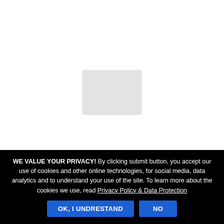[Figure (photo): A largely white/blank photo area with a faint grey placeholder shape in the center, representing a partially loaded or obscured image.]
Tour goes in all weather conditions, please dress
WE VALUE YOUR PRIVACY! By clicking submit button, you accept our use of cookies and other online technologies, for social media, data analytics and to understand your use of the site. To learn more about the cookies we use, read Privacy Policy & Data Protection
OK, I UNDRESTAND
NO